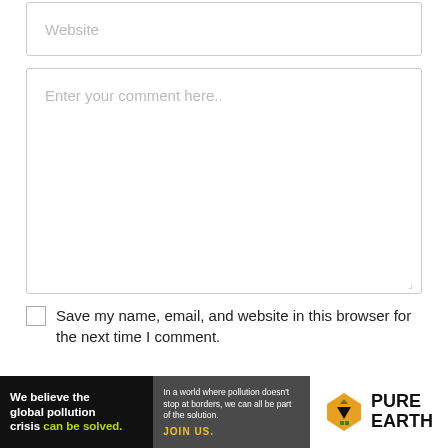[Figure (screenshot): Website input field with placeholder text 'Website']
[Figure (screenshot): Comment textarea with placeholder text 'Enter your comment here..' and resize handle]
Save my name, email, and website in this browser for the next time I comment.
[Figure (screenshot): POST COMMENT button in black]
[Figure (infographic): Pure Earth advertisement banner: 'We believe the global pollution crisis can be solved.' with green text for 'can be solved.' Right side shows Pure Earth logo with diamond icon.]